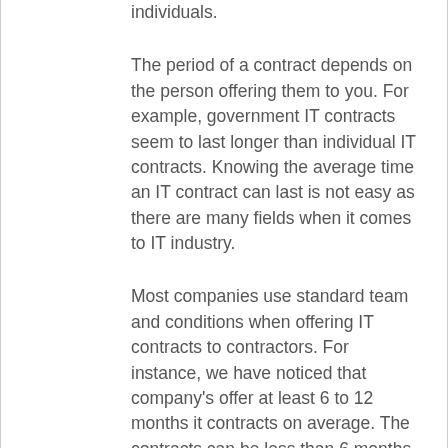individuals.
The period of a contract depends on the person offering them to you. For example, government IT contracts seem to last longer than individual IT contracts. Knowing the average time an IT contract can last is not easy as there are many fields when it comes to IT industry.
Most companies use standard team and conditions when offering IT contracts to contractors. For instance, we have noticed that company's offer at least 6 to 12 months it contracts on average. The contracts can be less than 6 months or more depending on the nature of work, your skills and experience and the